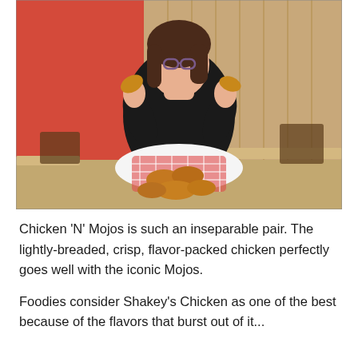[Figure (photo): A woman with glasses and dark hair wearing a black lace top sits at a restaurant table, holding up two pieces of fried chicken. In front of her is a basket lined with red-checkered paper filled with fried chicken pieces. The restaurant background shows a red wall on the left and wooden paneling on the right, with tables and chairs visible.]
Chicken 'N' Mojos is such an inseparable pair. The lightly-breaded, crisp, flavor-packed chicken perfectly goes well with the iconic Mojos.
Foodies consider Shakey's Chicken as one of the best because of the flavors that burst out of it...